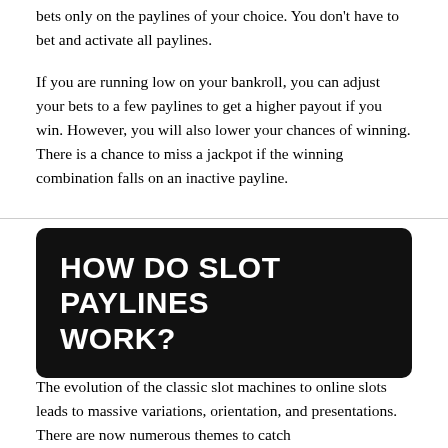bets only on the paylines of your choice. You don't have to bet and activate all paylines.
If you are running low on your bankroll, you can adjust your bets to a few paylines to get a higher payout if you win. However, you will also lower your chances of winning. There is a chance to miss a jackpot if the winning combination falls on an inactive payline.
HOW DO SLOT PAYLINES WORK?
The evolution of the classic slot machines to online slots leads to massive variations, orientation, and presentations. There are now numerous themes to catch